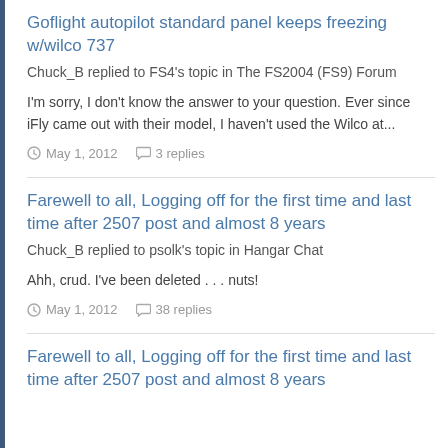Goflight autopilot standard panel keeps freezing w/wilco 737
Chuck_B replied to FS4's topic in The FS2004 (FS9) Forum
I'm sorry, I don't know the answer to your question. Ever since iFly came out with their model, I haven't used the Wilco at...
May 1, 2012   3 replies
Farewell to all, Logging off for the first time and last time after 2507 post and almost 8 years
Chuck_B replied to psolk's topic in Hangar Chat
Ahh, crud. I've been deleted . . . nuts!
May 1, 2012   38 replies
Farewell to all, Logging off for the first time and last time after 2507 post and almost 8 years